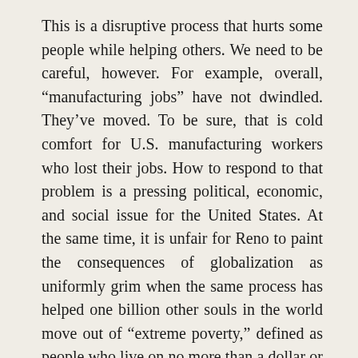This is a disruptive process that hurts some people while helping others. We need to be careful, however. For example, overall, “manufacturing jobs” have not dwindled. They’ve moved. To be sure, that is cold comfort for U.S. manufacturing workers who lost their jobs. How to respond to that problem is a pressing political, economic, and social issue for the United States. At the same time, it is unfair for Reno to paint the consequences of globalization as uniformly grim when the same process has helped one billion other souls in the world move out of “extreme poverty,” defined as people who live on no more than a dollar or two every day. Further, the same process allows consumers everywhere to pay less for the same set of goods, thereby freeing up money for other goods and services, creating new jobs in new